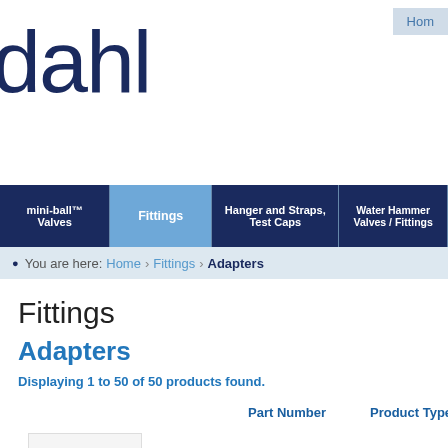dahl
Home
mini-ball™ Valves | Fittings | Hanger and Straps, Test Caps | Water Hammer Valves / Fittings
You are here: Home › Fittings › Adapters
Fittings
Adapters
Displaying 1 to 50 of 50 products found.
| Part Number | Product Type | Description |
| --- | --- | --- |
| 510-42-13 | Adapter | 1/2 OD P |